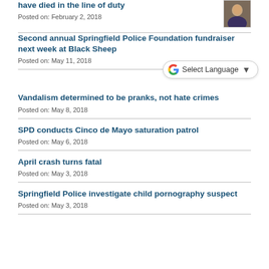have died in the line of duty
Posted on: February 2, 2018
Second annual Springfield Police Foundation fundraiser next week at Black Sheep
Posted on: May 11, 2018
Vandalism determined to be pranks, not hate crimes
Posted on: May 8, 2018
SPD conducts Cinco de Mayo saturation patrol
Posted on: May 6, 2018
April crash turns fatal
Posted on: May 3, 2018
Springfield Police investigate child pornography suspect
Posted on: May 3, 2018